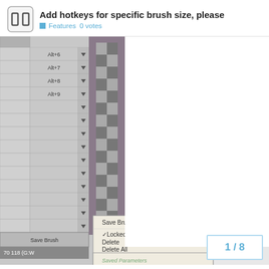Add hotkeys for specific brush size, please
Features  0 votes
[Figure (screenshot): Screenshot of a graphics application showing a brush presets panel with keyboard shortcuts (Alt+6, Alt+7, Alt+8, Alt+9) assigned to brush slots, a checkerboard preview area, and a right-click context menu with options: Save Brush Here, Locked (checked), Delete, Delete All, and Saved Parameters section showing Brush (Type, Size, Basic), Color (Foreground, Background, Image Color), Ink (Type, Opacity), and Extras (Shade, Pixel-Per) buttons. Bottom left shows coordinates '70 118 (G:W'.]
1 / 8